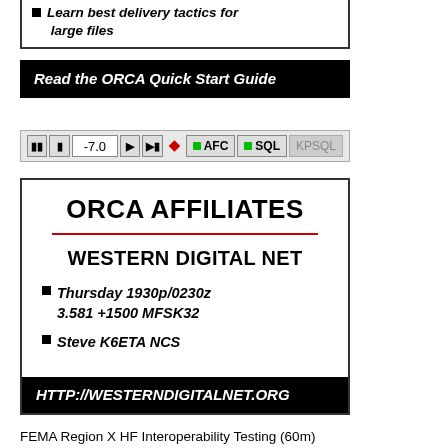Learn best delivery tactics for large files
Read the ORCA Quick Start Guide
[Figure (screenshot): Navigation control bar with back/forward buttons, value -7.0, diamond icon, AFC button, SQL button, KPSQL button]
ORCA AFFILIATES
WESTERN DIGITAL NET
Thursday 1930p/0230z 3.581 +1500 MFSK32
Steve K6ETA NCS
HTTP://WESTERNDIGITALNET.ORG
FEMA Region X HF Interoperability Testing (60m)